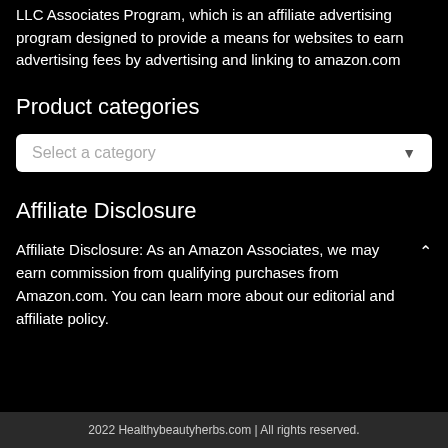LLC Associates Program, which is an affiliate advertising program designed to provide a means for websites to earn advertising fees by advertising and linking to amazon.com
Product categories
[Figure (other): A dropdown select box with placeholder text 'Select a category' and a down arrow]
Affiliate Disclosure
Affiliate Disclosure: As an Amazon Associates, we may earn commission from qualifying purchases from Amazon.com. You can learn more about our editorial and affiliate policy.
2022 Healthybeautyherbs.com | All rights reserved.